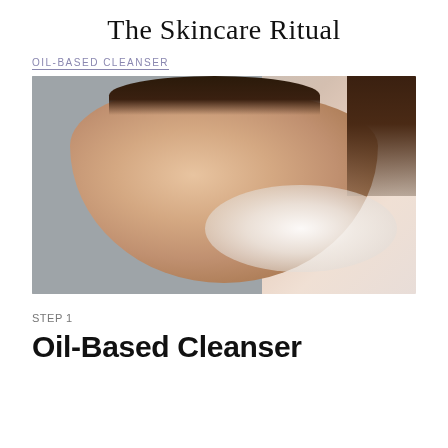The Skincare Ritual
OIL-BASED CLEANSER
[Figure (photo): A woman with eyes closed washing her face with foam/lather cleanser, photographed in profile against a gray background. Her skin has a warm tone and she is applying white cleansing foam to her cheek and jaw area with her hand.]
STEP 1
Oil-Based Cleanser